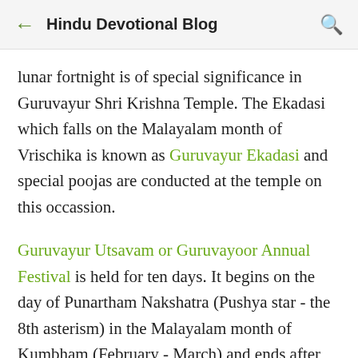← Hindu Devotional Blog 🔍
lunar fortnight is of special significance in Guruvayur Shri Krishna Temple. The Ekadasi which falls on the Malayalam month of Vrischika is known as Guruvayur Ekadasi and special poojas are conducted at the temple on this occassion.
Guruvayur Utsavam or Guruvayoor Annual Festival is held for ten days. It begins on the day of Punartham Nakshatra (Pushya star - the 8th asterism) in the Malayalam month of Kumbham (February - March) and ends after the Guruvayoorappan Aarattu on the 10th day.